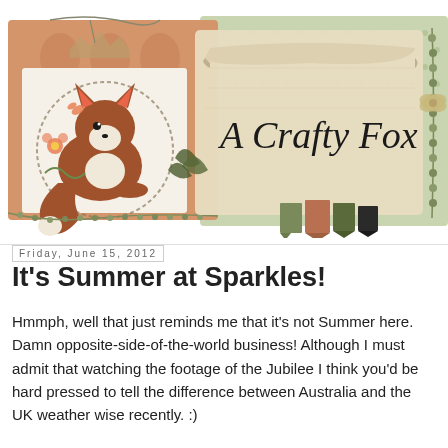[Figure (illustration): A Crafty Fox blog header banner featuring a cartoon fox illustration on the left side with decorative scrapbooking elements including floral patterns, leaves, beads, ribbon bookmarks, and the text 'A Crafty Fox' in an elegant serif font on a cream/parchment background.]
Friday, June 15, 2012
It's Summer at Sparkles!
Hmmph, well that just reminds me that it's not Summer here. Damn opposite-side-of-the-world business! Although I must admit that watching the footage of the Jubilee I think you'd be hard pressed to tell the difference between Australia and the UK weather wise recently. :)